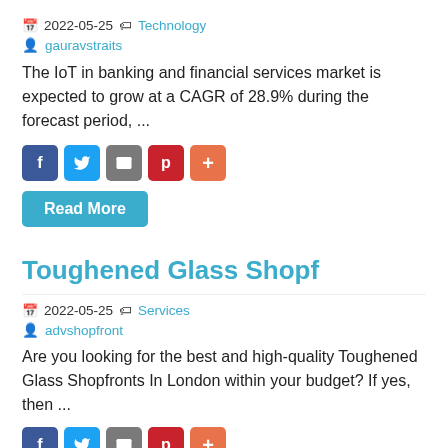2022-05-25 Technology
gauravstraits
The IoT in banking and financial services market is expected to grow at a CAGR of 28.9% during the forecast period, ...
[Figure (other): Social share buttons: Facebook, Twitter, Email, Pinterest, More]
Read More
Toughened Glass Shopf
2022-05-25 Services
advshopfront
Are you looking for the best and high-quality Toughened Glass Shopfronts In London within your budget? If yes, then ...
[Figure (other): Social share buttons: Facebook, Twitter, Email, Pinterest, More (partially visible)]